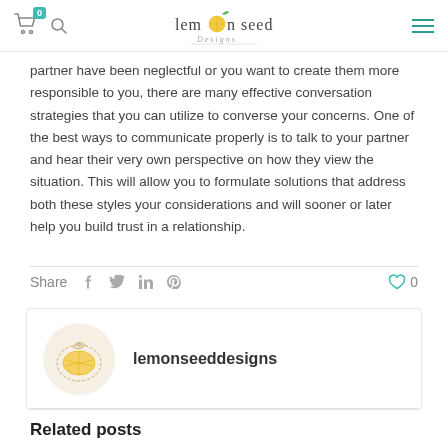Lemon Seed Designs - header with cart, search, logo, hamburger menu
partner have been neglectful or you want to create them more responsible to you, there are many effective conversation strategies that you can utilize to converse your concerns. One of the best ways to communicate properly is to talk to your partner and hear their very own perspective on how they view the situation. This will allow you to formulate solutions that address both these styles your considerations and will sooner or later help you build trust in a relationship.
Share  0
[Figure (photo): Author avatar - circular image of lemon seed design craft item]
lemonseeddesigns
Related posts